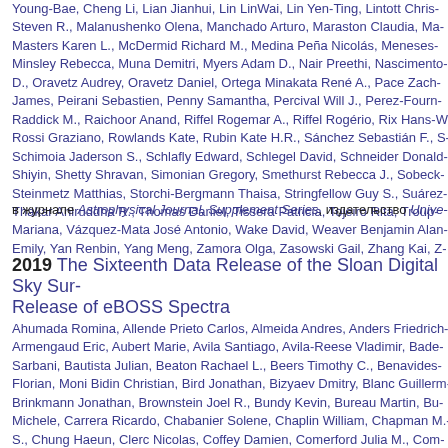Young-Bae, Cheng Li, Lian Jianhui, Lin LinWai, Lin Yen-Ting, Lintott Chris-Steven R., Malanushenko Olena, Manchado Arturo, Maraston Claudia, Ma-Masters Karen L., McDermid Richard M., Medina Peña Nicolás, Meneses-Minsley Rebecca, Muna Demitri, Myers Adam D., Nair Preethi, Nascimento-D., Oravetz Audrey, Oravetz Daniel, Ortega Minakata René A., Pace Zach-James, Peirani Sebastien, Penny Samantha, Percival Will J., Perez-Fourn-Raddick M., Raichoor Anand, Riffel Rogemar A., Riffel Rogério, Rix Hans-W-Rossi Graziano, Rowlands Kate, Rubin Kate H.R., Sánchez Sebastián F., S-Schimoia Jaderson S., Schlafly Edward, Schlegel David, Schneider Donald-Shiyin, Shetty Shravan, Simonian Gregory, Smethurst Rebecca J., Sobeck-Steinmetz Matthias, Storchi-Bergmann Thaisa, Stringfellow Guy S., Suárez-Thakar Aniruddha R., Thomas Daniel, Tissera Patricia, Tojeiro Rita, Troup-Mariana, Vázquez-Mata José Antonio, Wake David, Weaver Benjamin Alan-Emily, Yan Renbin, Yang Meng, Zamora Olga, Zasowski Gail, Zhang Kai, Z-
в журнале Astrophysical Journal, Supplement Series, издательство Unive-
2019 The Sixteenth Data Release of the Sloan Digital Sky Survey: Release of eBOSS Spectra
Ahumada Romina, Allende Prieto Carlos, Almeida Andres, Anders Friedrich-Armengaud Eric, Aubert Marie, Avila Santiago, Avila-Reese Vladimir, Bade-Sarbani, Bautista Julian, Beaton Rachael L., Beers Timothy C., Benavides-Florian, Moni Bidin Christian, Bird Jonathan, Bizyaev Dmitry, Blanc Guillerm-Brinkmann Jonathan, Brownstein Joel R., Bundy Kevin, Bureau Martin, Bu-Michele, Carrera Ricardo, Chabanier Solene, Chaplin William, Chapman M.-S., Chung Haeun, Clerc Nicolas, Coffey Damien, Comerford Julia M., Com-